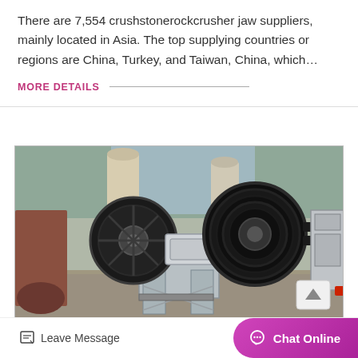There are 7,554 crushstonerockcrusher jaw suppliers, mainly located in Asia. The top supplying countries or regions are China, Turkey, and Taiwan, China, which…
MORE DETAILS
[Figure (photo): Industrial jaw crusher machine with two large black flywheels and grey metal frame structure, photographed outdoors in a machinery yard]
Leave Message
Chat Online